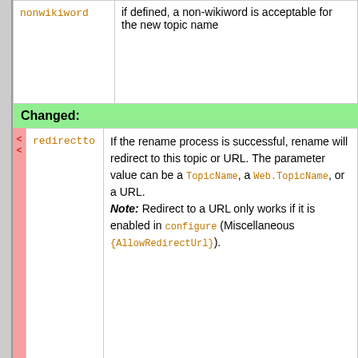|  | Parameter | Description |
| --- | --- | --- |
|  | nonwikiword | if defined, a non-wikiword is acceptable for the new topic name |
Changed:
| diff | Parameter | Description |
| --- | --- | --- |
| <
< | redirectto | If the rename process is successful, rename will redirect to this topic or URL. The parameter value can be a TopicName, a Web.TopicName, or a URL. Note: Redirect to a URL only works if it is enabled in configure (Miscellaneous {AllowRedirectUrl}). |
| >
> | redirectto | If the rename process is successful, rename will redirect to this topic or URL. The parameter value can be a TopicName, a Web.TopicName, or a URL. Note: Redirect to a URL only works if it is enabled in configure |